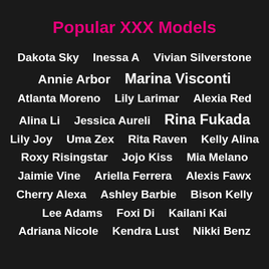Popular XXX Models
Dakota Sky   Inessa A   Vivian Silverstone
Annie Arbor   Marina Visconti
Atlanta Moreno   Lily Larimar   Alexia Red
Alina Li   Jessica Aureli   Rina Fukada
Lily Joy   Uma Zex   Rita Raven   Kelly Alina
Roxy Risingstar   Jojo Kiss   Mia Melano
Jaimie Vine   Ariella Ferrera   Alexis Fawx
Cherry Alexa   Ashley Barbie   Bison Kelly
Lee Adams   Foxi Di   Kailani Kai
Adriana Nicole   Kendra Lust   Nikki Benz